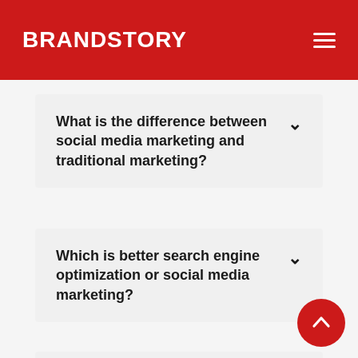BRANDSTORY
What is the difference between social media marketing and traditional marketing?
Which is better search engine optimization or social media marketing?
What companies need social media marketing?